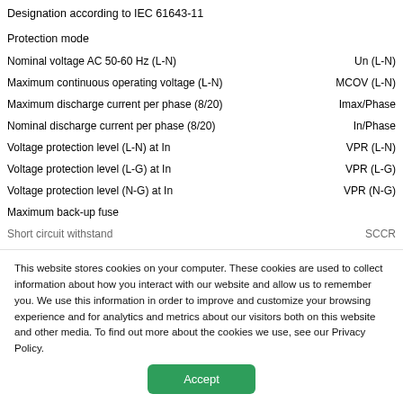| Parameter | Symbol |
| --- | --- |
| Designation according to IEC 61643-11 |  |
| Protection mode |  |
| Nominal voltage AC 50-60 Hz (L-N) | Un (L-N) |
| Maximum continuous operating voltage (L-N) | MCOV (L-N) |
| Maximum discharge current per phase (8/20) | Imax/Phase |
| Nominal discharge current per phase (8/20) | In/Phase |
| Voltage protection level (L-N) at In | VPR (L-N) |
| Voltage protection level (L-G) at In | VPR (L-G) |
| Voltage protection level (N-G) at In | VPR (N-G) |
| Maximum back-up fuse |  |
| Short circuit withstand | SCCR |
This website stores cookies on your computer. These cookies are used to collect information about how you interact with our website and allow us to remember you. We use this information in order to improve and customize your browsing experience and for analytics and metrics about our visitors both on this website and other media. To find out more about the cookies we use, see our Privacy Policy.